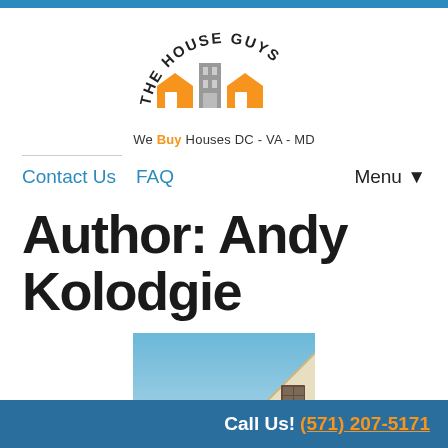[Figure (logo): The House Guys logo with orange houses and gray building, arched text reading THE HOUSE GUYS, tagline We Buy Houses DC - VA - MD]
Contact Us   FAQ                         Menu ▼
Author: Andy Kolodgie
[Figure (photo): Photo of a house roofline and gable with a window against a blue sky]
Call Us! (571) 207-5171